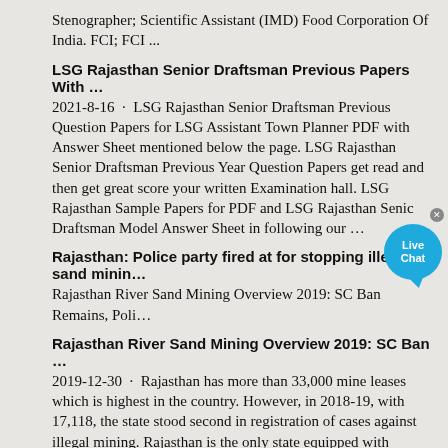Stenographer; Scientific Assistant (IMD) Food Corporation Of India. FCI; FCI ...
LSG Rajasthan Senior Draftsman Previous Papers With … 2021-8-16 · LSG Rajasthan Senior Draftsman Previous Question Papers for LSG Assistant Town Planner PDF with Answer Sheet mentioned below the page. LSG Rajasthan Senior Draftsman Previous Year Question Papers get read and then get great score your written Examination hall. LSG Rajasthan Sample Papers for PDF and LSG Rajasthan Senior Draftsman Model Answer Sheet in following our …
Rajasthan: Police party fired at for stopping illegal sand minin… Rajasthan River Sand Mining Overview 2019: SC Ban Remains, Poli…
Rajasthan River Sand Mining Overview 2019: SC Ban … 2019-12-30 · Rajasthan has more than 33,000 mine leases which is highest in the country. However, in 2018-19, with 17,118, the state stood second in registration of cases against illegal mining. Rajasthan is the only state equipped with armed police battalion dedicated for anti-mining operations.
Supreme Court''s ban on gravel mining to continue in … 2018-1-8 · Jaipur: The ongoing ban on gravel mining in Rajasthan will continue for at least six weeks. The Supreme Court on Monday turned down the state government's
[Figure (other): Live Chat bubble widget with close button (x), blue circular bubble with 'Live Chat' text and speech bubble tail]